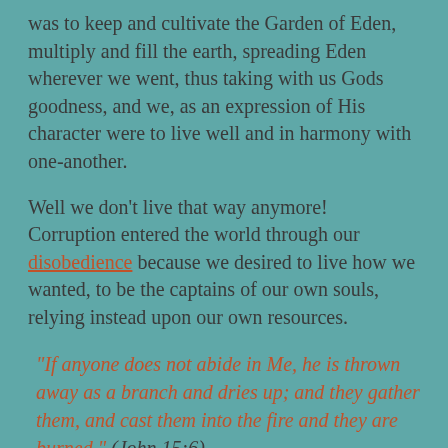was to keep and cultivate the Garden of Eden, multiply and fill the earth, spreading Eden wherever we went, thus taking with us Gods goodness, and we, as an expression of His character were to live well and in harmony with one-another.
Well we don't live that way anymore! Corruption entered the world through our disobedience because we desired to live how we wanted, to be the captains of our own souls, relying instead upon our own resources.
“If anyone does not abide in Me, he is thrown away as a branch and dries up; and they gather them, and cast them into the fire and they are burned.” (John 15:6)